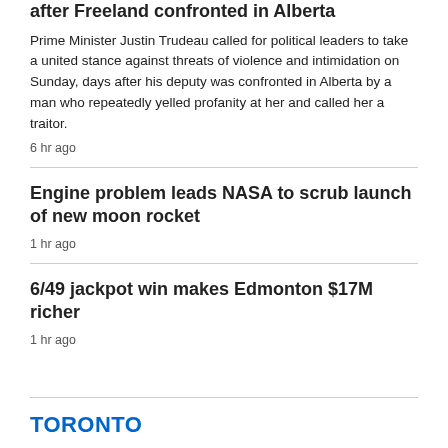after Freeland confronted in Alberta
Prime Minister Justin Trudeau called for political leaders to take a united stance against threats of violence and intimidation on Sunday, days after his deputy was confronted in Alberta by a man who repeatedly yelled profanity at her and called her a traitor.
6 hr ago
Engine problem leads NASA to scrub launch of new moon rocket
1 hr ago
6/49 jackpot win makes Edmonton $17M richer
1 hr ago
TORONTO